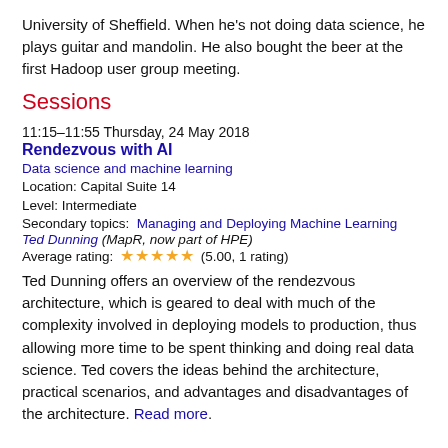University of Sheffield. When he's not doing data science, he plays guitar and mandolin. He also bought the beer at the first Hadoop user group meeting.
Sessions
11:15–11:55 Thursday, 24 May 2018
Rendezvous with AI
Data science and machine learning
Location: Capital Suite 14
Level: Intermediate
Secondary topics:  Managing and Deploying Machine Learning
Ted Dunning (MapR, now part of HPE)
Average rating: ★★★★★ (5.00, 1 rating)
Ted Dunning offers an overview of the rendezvous architecture, which is geared to deal with much of the complexity involved in deploying models to production, thus allowing more time to be spent thinking and doing real data science. Ted covers the ideas behind the architecture, practical scenarios, and advantages and disadvantages of the architecture. Read more.